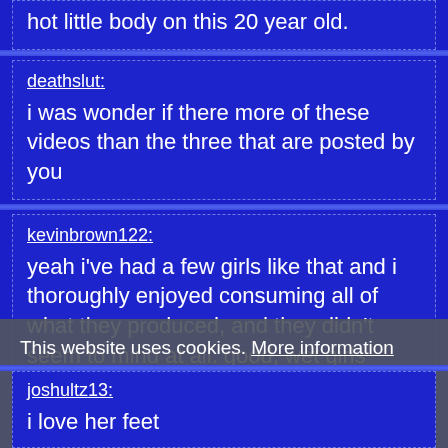hot little body on this 20 year old.
deathslut: i was wonder if there more of these videos than the three that are posted by you
kevinbrown122: yeah i've had a few girls like that and i thoroughly enjoyed consuming all of what they produced, and they didn't seem to mind at all. good, wet girls never mind
joshultz13: i love her feet
This website uses cookies. More information
I allow it